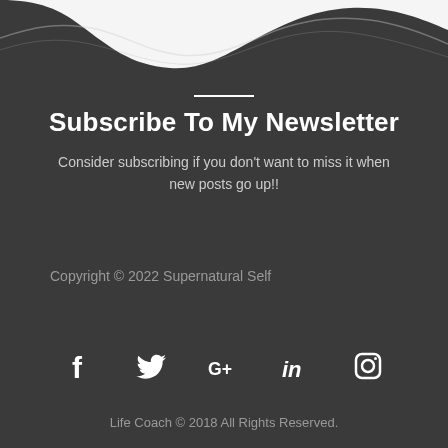[Figure (illustration): White wavy/ripple decorative border at top of dark background]
Subscribe To My Newsletter
Consider subscribing if you don't want to miss it when new posts go up!!
Copyright © 2022 Supernatural Self
[Figure (infographic): Social media icons row: Facebook, Twitter, Google+, LinkedIn, Instagram]
Life Coach © 2018 All Rights Reserved.